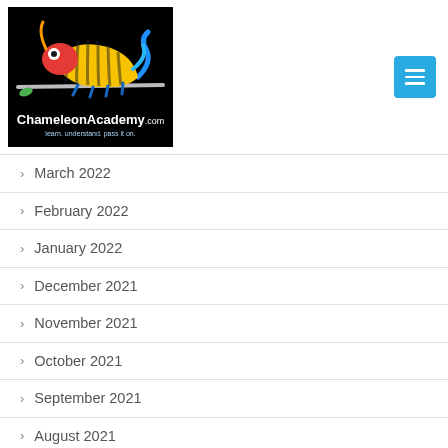[Figure (logo): ChameleonAcademy.com logo on black background with colorful chameleon illustration and tagline 'learn. understand. pass it on.']
March 2022
February 2022
January 2022
December 2021
November 2021
October 2021
September 2021
August 2021